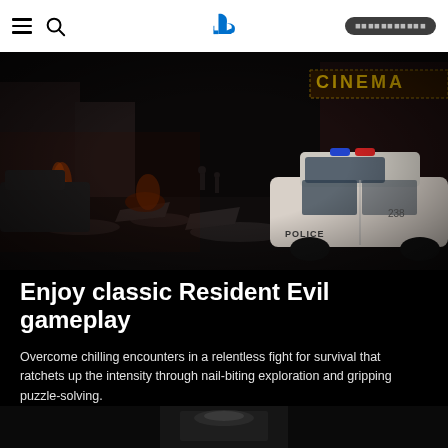PlayStation navigation header with menu, search, PlayStation logo, and login button
[Figure (screenshot): Dark post-apocalyptic game screenshot showing a destroyed city street at night with a police car, fires, rubble, and a cinema sign in the background — from Resident Evil 3 Remake]
Enjoy classic Resident Evil gameplay
Overcome chilling encounters in a relentless fight for survival that ratchets up the intensity through nail-biting exploration and gripping puzzle-solving.
[Figure (screenshot): Dark interior game screenshot (partially visible at bottom of page)]